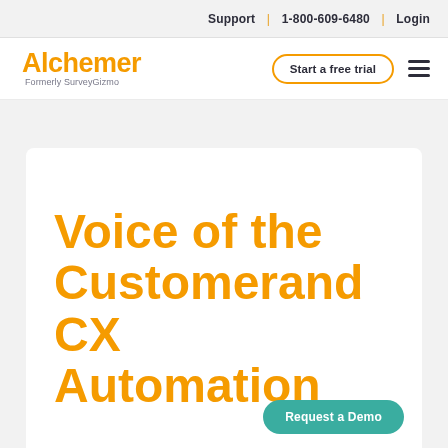Support | 1-800-609-6480 | Login
[Figure (logo): Alchemer logo with text 'Formerly SurveyGizmo' below, in orange]
Start a free trial
Voice of the Customerand CX Automation
Request a Demo